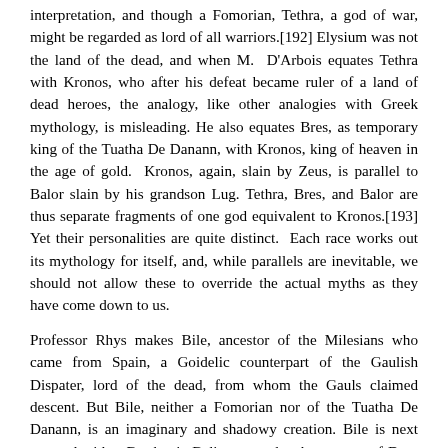interpretation, and though a Fomorian, Tethra, a god of war, might be regarded as lord of all warriors.[192] Elysium was not the land of the dead, and when M. D'Arbois equates Tethra with Kronos, who after his defeat became ruler of a land of dead heroes, the analogy, like other analogies with Greek mythology, is misleading. He also equates Bres, as temporary king of the Tuatha De Danann, with Kronos, king of heaven in the age of gold. Kronos, again, slain by Zeus, is parallel to Balor slain by his grandson Lug. Tethra, Bres, and Balor are thus separate fragments of one god equivalent to Kronos.[193] Yet their personalities are quite distinct. Each race works out its mythology for itself, and, while parallels are inevitable, we should not allow these to override the actual myths as they have come down to us.
Professor Rhys makes Bile, ancestor of the Milesians who came from Spain, a Goidelic counterpart of the Gaulish Dispater, lord of the dead, from whom the Gauls claimed descent. But Bile, neither a Fomorian nor of the Tuatha De Danann, is an imaginary and shadowy creation. Bile is next equated with a Brythonic Beli, assumed to be consort of Don, whose family are equivalent to the Tuatha De Danann.[194] Beli was a mythic king whose reign was a kind of golden age, and if he was father of Don's children, which is doubtful, Bile would then be father of the Tuatha De Danann. But